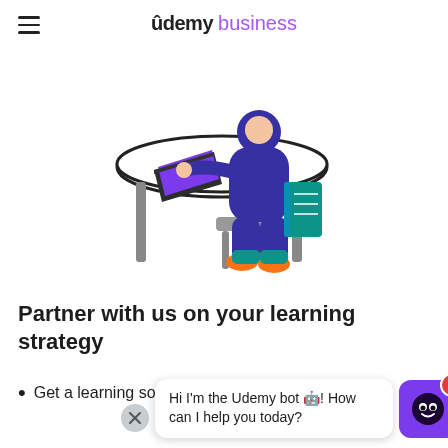☰  Udemy business
[Figure (illustration): Flat vector illustration of a person in a purple outfit sitting at a desk working on a laptop, with a teal book under their arm and orange shoes. The desk has a dark monitor/laptop open showing a purple screen.]
Partner with us on your learning strategy
Get a learning solution that's tailored your needs
[Figure (other): Chat bot overlay popup with close button (X), speech bubble saying 'Hi I'm the Udemy bot 🤖! How can I help you today?', and a purple avatar with a smiley face and a red badge showing '1'.]